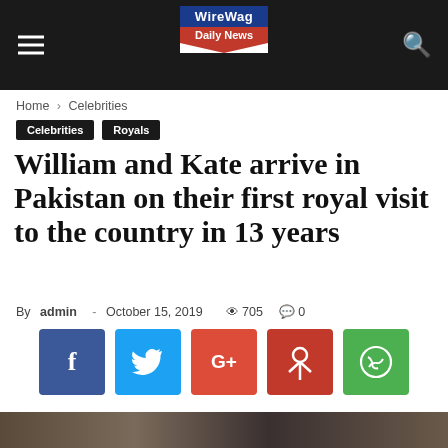WireWag Daily News
Home › Celebrities
Celebrities  Royals
William and Kate arrive in Pakistan on their first royal visit to the country in 13 years
By admin - October 15, 2019  705  0
[Figure (infographic): Social share buttons: Facebook, Twitter, Google+, Pinterest, WhatsApp]
[Figure (photo): Photo of William and Kate arriving in Pakistan, with military officer and another person in background]